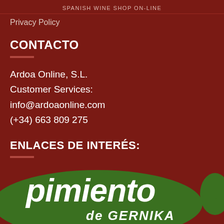SPANISH WINE SHOP ON-LINE
Privacy Policy
CONTACTO
Ardoa Online, S.L.
Customer Services:
info@ardoaonline.com
(+34) 663 809 275
ENLACES DE INTERÉS:
[Figure (logo): Green rounded logo shape with white italic text reading 'pimiento' and below 'de GERNIKA']